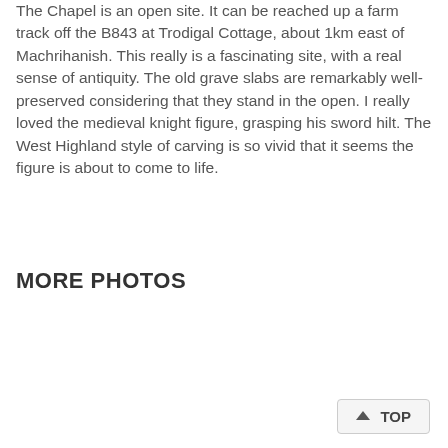The Chapel is an open site. It can be reached up a farm track off the B843 at Trodigal Cottage, about 1km east of Machrihanish. This really is a fascinating site, with a real sense of antiquity. The old grave slabs are remarkably well-preserved considering that they stand in the open. I really loved the medieval knight figure, grasping his sword hilt. The West Highland style of carving is so vivid that it seems the figure is about to come to life.
MORE PHOTOS